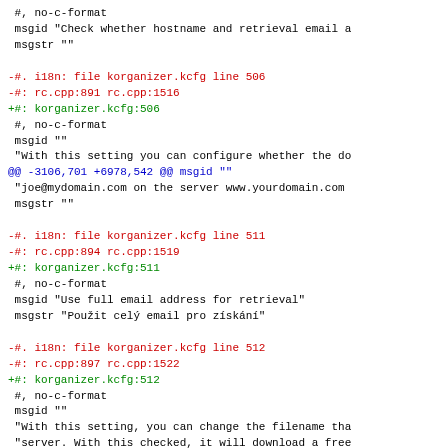Diff/patch content showing localization file changes for korganizer.kcfg lines 506, 511, 512